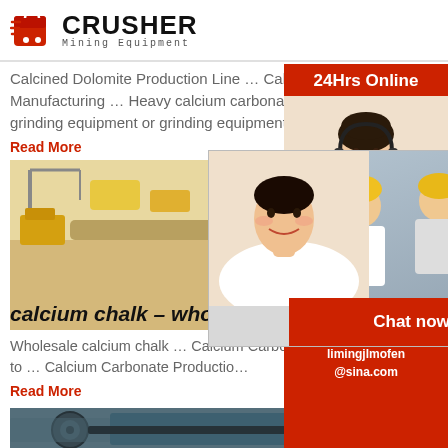[Figure (logo): Crusher Mining Equipment logo with red shopping cart icon and bold CRUSHER text]
Calcined Dolomite Production Line … Calcium Carbonate Manufacturing … Heavy calcium carbonate powder with grinding equipment or grinding equipment directly …
Read More
[Figure (illustration): Mining facility illustration with construction equipment and conveyor belts]
[Figure (photo): Live Chat overlay with workers in hard hats, woman's face, LIVE CHAT title, Chat now and Chat later buttons]
calcium chalk – wholesale calciu…
Wholesale calcium chalk … Calcium Carbonate P… provided by us complies with international quali… and is second to … Calcium Carbonate Productio…
Read More
[Figure (photo): Industrial crusher/pulverizer machine photo]
[Figure (infographic): Right sidebar: 24Hrs Online label, customer service lady with headset, Need questions & suggestion, Chat Now button, Enquiry link, limingjlmofen@sina.com email]